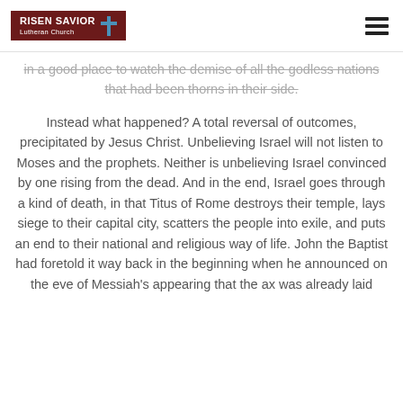RISEN SAVIOR Lutheran Church
in a good place to watch the demise of all the godless nations that had been thorns in their side.
Instead what happened? A total reversal of outcomes, precipitated by Jesus Christ. Unbelieving Israel will not listen to Moses and the prophets. Neither is unbelieving Israel convinced by one rising from the dead. And in the end, Israel goes through a kind of death, in that Titus of Rome destroys their temple, lays siege to their capital city, scatters the people into exile, and puts an end to their national and religious way of life. John the Baptist had foretold it way back in the beginning when he announced on the eve of Messiah's appearing that the ax was already laid